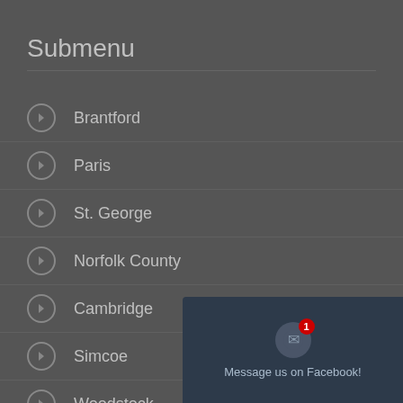Submenu
Brantford
Paris
St. George
Norfolk County
Cambridge
Simcoe
Woodstock
Norfolk
Brant County
[Figure (screenshot): Facebook Messenger popup with notification badge showing '1' and text 'Message us on Facebook!']